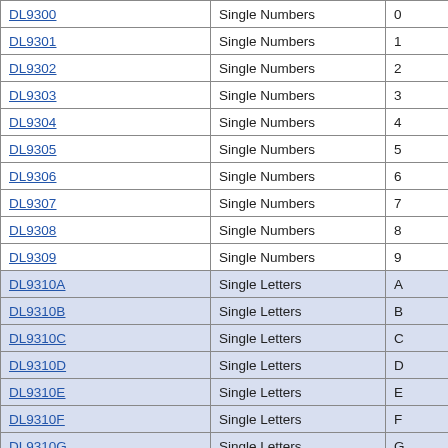| DL9300 | Single Numbers | 0 |
| DL9301 | Single Numbers | 1 |
| DL9302 | Single Numbers | 2 |
| DL9303 | Single Numbers | 3 |
| DL9304 | Single Numbers | 4 |
| DL9305 | Single Numbers | 5 |
| DL9306 | Single Numbers | 6 |
| DL9307 | Single Numbers | 7 |
| DL9308 | Single Numbers | 8 |
| DL9309 | Single Numbers | 9 |
| DL9310A | Single Letters | A |
| DL9310B | Single Letters | B |
| DL9310C | Single Letters | C |
| DL9310D | Single Letters | D |
| DL9310E | Single Letters | E |
| DL9310F | Single Letters | F |
| DL9310G | Single Letters | G |
| DL9310H | Single Letters | H |
| DL9310I | Single Letters | I |
| DL9310J | Single Letters | J |
| DL9310K | Single Letters | K |
| DL9310L | Single Letters | L |